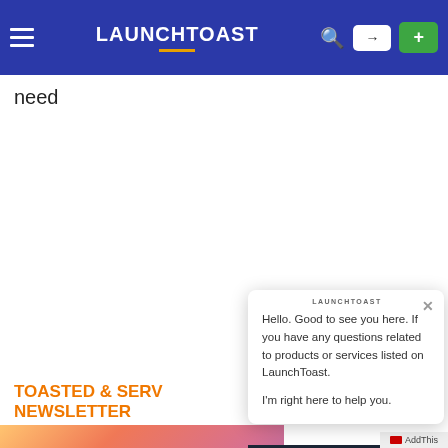LAUNCHTOAST
need
TOASTED & SERVED NEWSLETTER
[Figure (screenshot): Anny Smart Trading product card with gradient background showing purple Anny logo and trading dashboard screenshot]
[Figure (screenshot): Chat popup overlay with LAUNCHTOAST branding header and close button. Message reads: Hello. Good to see you here. If you have any questions related to products or services listed on LaunchToast. I'm right here to help you.]
Anny.trade - Bot powered..
launchtoast.com
AddThis